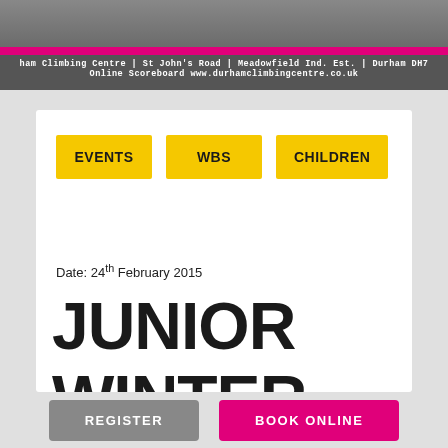ham Climbing Centre | St John's Road | Meadowfield Ind. Est. | Durham DH7
Online Scoreboard www.durhamclimbingcentre.co.uk
EVENTS   WBS   CHILDREN
Date: 24th February 2015
JUNIOR WINTER
REGISTER   BOOK ONLINE